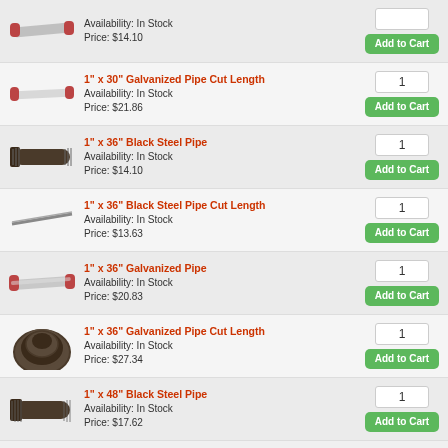Availability: In Stock
Price: $14.10
1" x 30" Galvanized Pipe Cut Length
Availability: In Stock
Price: $21.86
1" x 36" Black Steel Pipe
Availability: In Stock
Price: $14.10
1" x 36" Black Steel Pipe Cut Length
Availability: In Stock
Price: $13.63
1" x 36" Galvanized Pipe
Availability: In Stock
Price: $20.83
1" x 36" Galvanized Pipe Cut Length
Availability: In Stock
Price: $27.34
1" x 48" Black Steel Pipe
Availability: In Stock
Price: $17.62